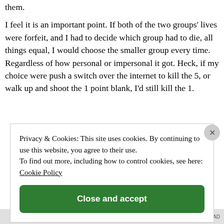them.
I feel it is an important point. If both of the two groups' lives were forfeit, and I had to decide which group had to die, all things equal, I would choose the smaller group every time. Regardless of how personal or impersonal it got. Heck, if my choice were push a switch over the internet to kill the 5, or walk up and shoot the 1 point blank, I'd still kill the 1.
Privacy & Cookies: This site uses cookies. By continuing to use this website, you agree to their use.
To find out more, including how to control cookies, see here: Cookie Policy
Close and accept